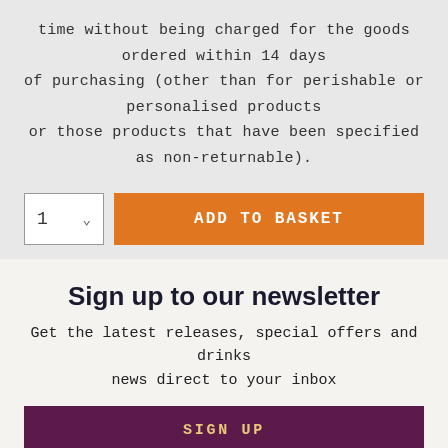time without being charged for the goods ordered within 14 days of purchasing (other than for perishable or personalised products or those products that have been specified as non-returnable).
1  ADD TO BASKET
Sign up to our newsletter
Get the latest releases, special offers and drinks news direct to your inbox
SIGN UP
HELP & SUPPORT
DELIVERY & RETURNS